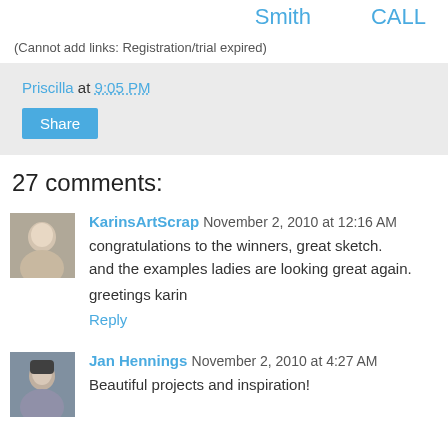Smith    CALL
(Cannot add links: Registration/trial expired)
Priscilla at 9:05 PM
Share
27 comments:
[Figure (photo): Avatar photo of KarinsArtScrap commenter]
KarinsArtScrap November 2, 2010 at 12:16 AM
congratulations to the winners, great sketch.
and the examples ladies are looking great again.

greetings karin
Reply
[Figure (photo): Avatar photo of Jan Hennings commenter]
Jan Hennings November 2, 2010 at 4:27 AM
Beautiful projects and inspiration!